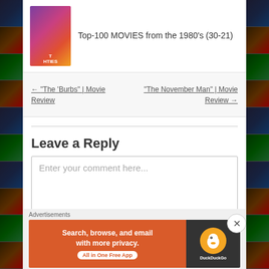Top-100 MOVIES from the 1980's (30-21)
← “The ‘Burbs” | Movie Review
“The November Man” | Movie Review →
Leave a Reply
Enter your comment here...
This site uses Akismet to reduce spam. Learn
Advertisements
[Figure (infographic): DuckDuckGo advertisement banner: Search, browse, and email with more privacy. All in One Free App.]